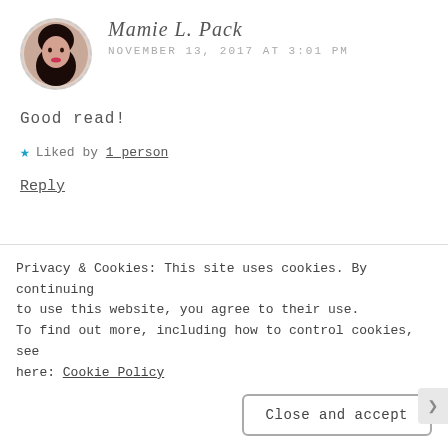Mamie L. Pack
NOVEMBER 13, 2017 AT 3:01 PM
Good read!
Liked by 1 person
Reply
adventuresofabusymomcom
NOVEMBER 14, 2017 AT 1:28 PM
Privacy & Cookies: This site uses cookies. By continuing to use this website, you agree to their use. To find out more, including how to control cookies, see here: Cookie Policy
Close and accept